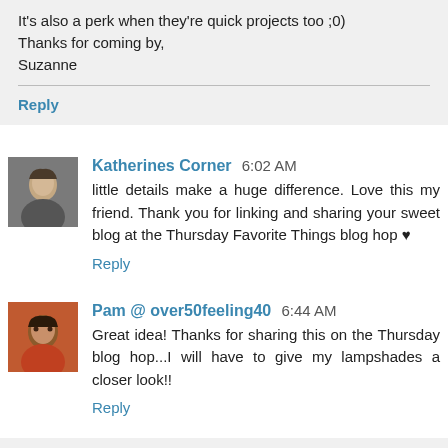It's also a perk when they're quick projects too ;0)
Thanks for coming by,
Suzanne
Reply
Katherines Corner 6:02 AM
little details make a huge difference. Love this my friend. Thank you for linking and sharing your sweet blog at the Thursday Favorite Things blog hop ♥
Reply
Pam @ over50feeling40 6:44 AM
Great idea! Thanks for sharing this on the Thursday blog hop...I will have to give my lampshades a closer look!!
Reply
Replies